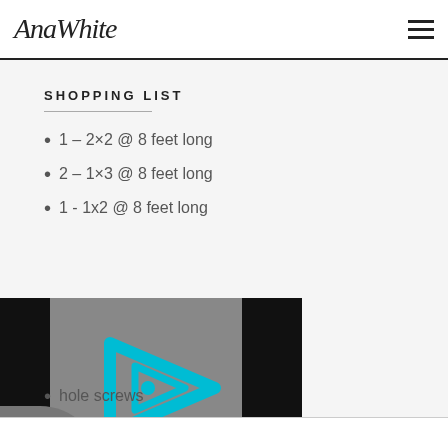AnaWhite
SHOPPING LIST
1 – 2×2 @ 8 feet long
2 – 1×3 @ 8 feet long
1 - 1x2 @ 8 feet long
[Figure (screenshot): Video player overlay with gray background, black sidebars, and a cyan triangular play button icon with a circle (Invidious-style player logo).]
...hole screws
...paper and finishing